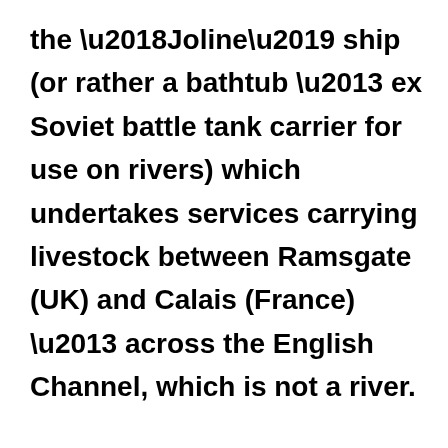the ‘Joline’ ship (or rather a bathtub – ex Soviet battle tank carrier for use on rivers) which undertakes services carrying livestock between Ramsgate (UK) and Calais (France) – across the English Channel, which is not a river.

Onderwater is a convicted criminal. This conviction was proven by an animal export organisation I was personally